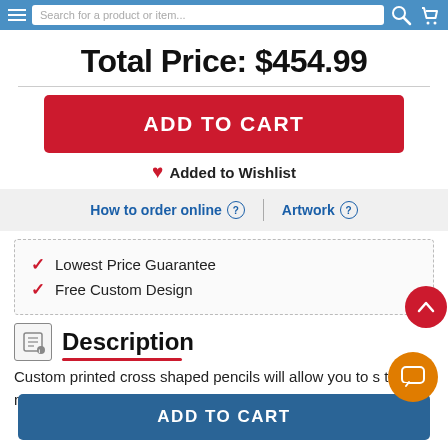Search for a product or item...
Total Price: $454.99
ADD TO CART
Added to Wishlist
How to order online ? | Artwork ?
Lowest Price Guarantee
Free Custom Design
Description
Custom printed cross shaped pencils will allow you to s the message of love in a unique way. These pencils are
ADD TO CART